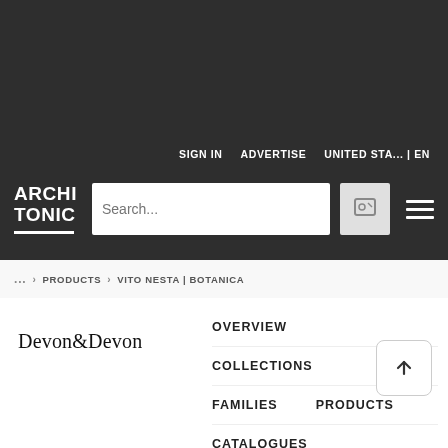SIGN IN   ADVERTISE   UNITED STA... | EN
[Figure (logo): Architonic logo with search bar and hamburger menu on dark background]
... › PRODUCTS › VITO NESTA | BOTANICA
[Figure (logo): Devon&Devon brand logo]
OVERVIEW
COLLECTIONS
FAMILIES
PRODUCTS
CATALOGUES
MORE